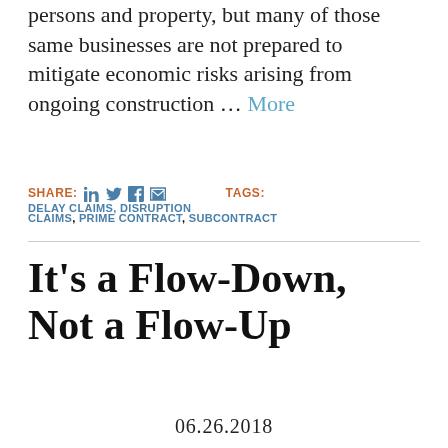persons and property, but many of those same businesses are not prepared to mitigate economic risks arising from ongoing construction … More
SHARE: [linkedin] [twitter] [facebook] [email]   TAGS: DELAY CLAIMS, DISRUPTION CLAIMS, PRIME CONTRACT, SUBCONTRACT
It's a Flow-Down, Not a Flow-Up
06.26.2018